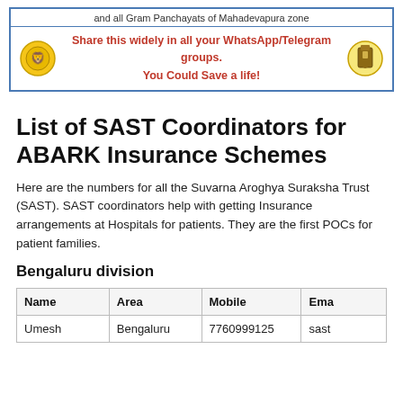[Figure (infographic): Banner with Karnataka government logos on left and right, red bold text in center: 'Share this widely in all your WhatsApp/Telegram groups. You Could Save a life!' with top bar text 'and all Gram Panchayats of Mahadevapura zone']
List of SAST Coordinators for ABARK Insurance Schemes
Here are the numbers for all the Suvarna Aroghya Suraksha Trust (SAST). SAST coordinators help with getting Insurance arrangements at Hospitals for patients. They are the first POCs for patient families.
Bengaluru division
| Name | Area | Mobile | Ema |
| --- | --- | --- | --- |
| Umesh | Bengaluru | 7760999125 | sast |